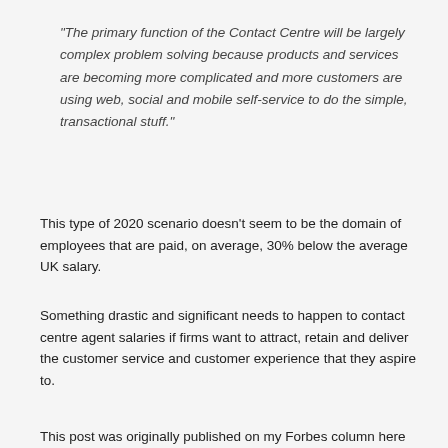"The primary function of the Contact Centre will be largely complex problem solving because products and services are becoming more complicated and more customers are using web, social and mobile self-service to do the simple, transactional stuff."
This type of 2020 scenario doesn't seem to be the domain of employees that are paid, on average, 30% below the average UK salary.
Something drastic and significant needs to happen to contact centre agent salaries if firms want to attract, retain and deliver the customer service and customer experience that they aspire to.
This post was originally published on my Forbes column here